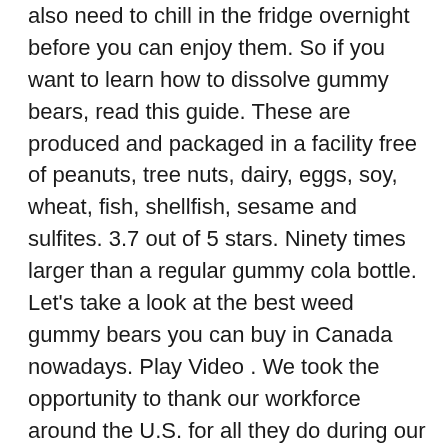also need to chill in the fridge overnight before you can enjoy them. So if you want to learn how to dissolve gummy bears, read this guide. These are produced and packaged in a facility free of peanuts, tree nuts, dairy, eggs, soy, wheat, fish, shellfish, sesame and sulfites. 3.7 out of 5 stars. Ninety times larger than a regular gummy cola bottle. Let's take a look at the best weed gummy bears you can buy in Canada nowadays. Play Video . We took the opportunity to thank our workforce around the U.S. for all they do during our National Employee Appreciation Day celebration. What is Gummy Bear Dissolution? Gummy Bear is a next generation Tech / IT recruiter, with skilled staff using a modern approach to engage candidates and match them with great career opportunities. Log In. A wide variety of gummy bear packaging options are available to you, such as stand up pouch, square bottom bag, and side gusset bag. The popularity of our gummies makes us one of the global market leaders in the candy industry. Over 1000x the size